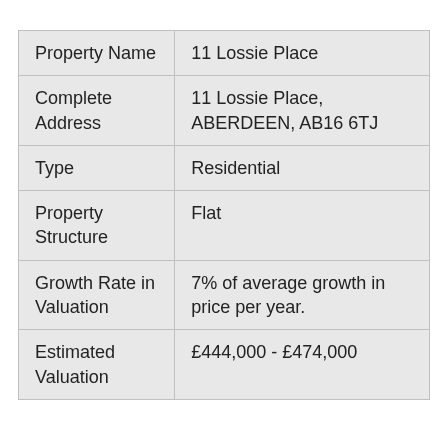| Property Name | 11 Lossie Place |
| --- | --- |
| Complete Address | 11 Lossie Place, ABERDEEN, AB16 6TJ |
| Type | Residential |
| Property Structure | Flat |
| Growth Rate in Valuation | 7% of average growth in price per year. |
| Estimated Valuation | £444,000 - £474,000 |